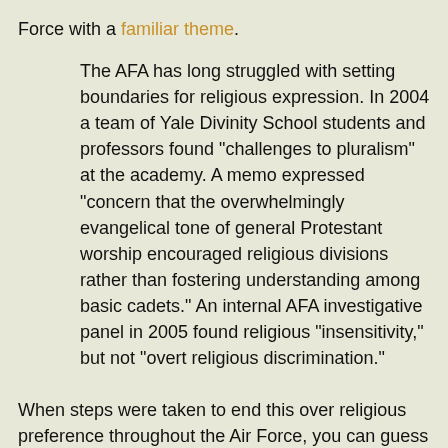Force with a familiar theme.
The AFA has long struggled with setting boundaries for religious expression. In 2004 a team of Yale Divinity School students and professors found "challenges to pluralism" at the academy. A memo expressed "concern that the overwhelmingly evangelical tone of general Protestant worship encouraged religious divisions rather than fostering understanding among basic cadets." An internal AFA investigative panel in 2005 found religious "insensitivity," but not "overt religious discrimination."
When steps were taken to end this over religious preference throughout the Air Force, you can guess what happened.
The gay agenda's bullying tactics have escalated in the military. Evangelical Christians at Lackland Air Force Base in San Antonio, Texas, are being persecuted for their position on gay marriage and, in some cases, are being ordered to support